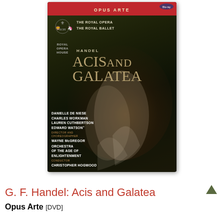[Figure (photo): Blu-ray disc cover for 'Acis and Galatea' by Handel, released by Opus Arte. Features Royal Opera House logo, The Royal Opera and The Royal Ballet text, composer name HANDEL, large title ACIS AND GALATEA, photo of two dancers in white costumes against dark moody background, credits listing Danielle de Niese, Charles Workman, Lauren Cuthbertson, Edward Watson, Director and Choreographer Wayne McGregor, Orchestra of the Age of Enlightenment, Conductor Christopher Hogwood.]
G. F. Handel: Acis and Galatea
Opus Arte [DVD]